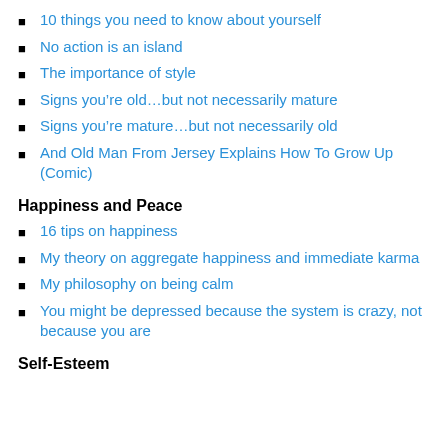10 things you need to know about yourself
No action is an island
The importance of style
Signs you’re old…but not necessarily mature
Signs you’re mature…but not necessarily old
And Old Man From Jersey Explains How To Grow Up (Comic)
Happiness and Peace
16 tips on happiness
My theory on aggregate happiness and immediate karma
My philosophy on being calm
You might be depressed because the system is crazy, not because you are
Self-Esteem